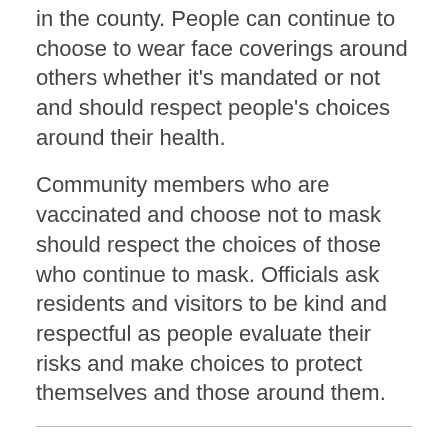in the county. People can continue to choose to wear face coverings around others whether it's mandated or not and should respect people's choices around their health.
Community members who are vaccinated and choose not to mask should respect the choices of those who continue to mask. Officials ask residents and visitors to be kind and respectful as people evaluate their risks and make choices to protect themselves and those around them.
Category: City of Menlo Park, COVID-19, Town of Atherton, Town of Portola Valley
Comments are closed.